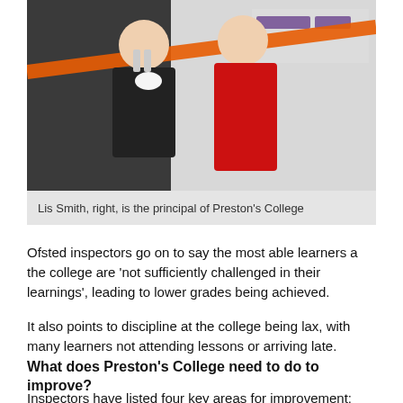[Figure (photo): Two people cutting a ribbon with scissors in front of a STEM sign. One person wearing black, the other in a red dress.]
Lis Smith, right, is the principal of Preston's College
Ofsted inspectors go on to say the most able learners a the college are ‘not sufficiently challenged in their learnings’, leading to lower grades being achieved.
It also points to discipline at the college being lax, with many learners not attending lessons or arriving late.
What does Preston’s College need to do to improve?
Inspectors have listed four key areas for improvement: